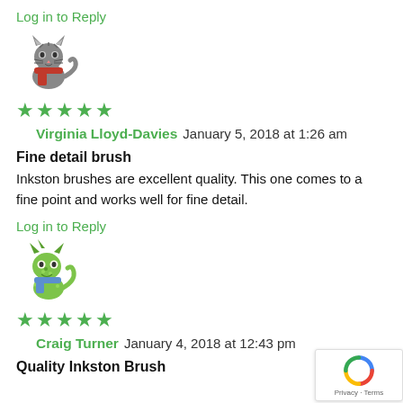Log in to Reply
[Figure (illustration): Avatar of a grey cat with a red scarf]
[Figure (other): 5 green stars rating]
Virginia Lloyd-Davies January 5, 2018 at 1:26 am
Fine detail brush
Inkston brushes are excellent quality. This one comes to a fine point and works well for fine detail.
Log in to Reply
[Figure (illustration): Avatar of a green dragon/lizard with a blue scarf]
[Figure (other): 5 green stars rating]
Craig Turner January 4, 2018 at 12:43 pm
Quality Inkston Brush